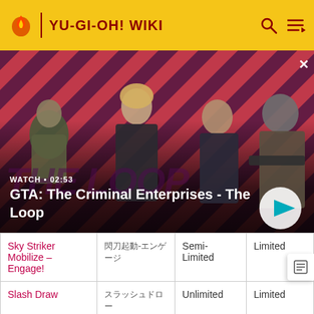YU-GI-OH! WIKI
[Figure (screenshot): GTA: The Criminal Enterprises - The Loop promotional video thumbnail with four game characters on a red diagonal striped background. Shows WATCH • 02:53 label and a play button.]
| Card Name | Japanese | OCG | TCG |
| --- | --- | --- | --- |
| Sky Striker Mobilize – Engage! | 閃刀起動-엔게이지 | Semi-Limited | Limited |
| Slash Draw | スラッシュドロー | Unlimited | Limited |
| Spellbook of | 魔導書 | Limited | Forbidden |